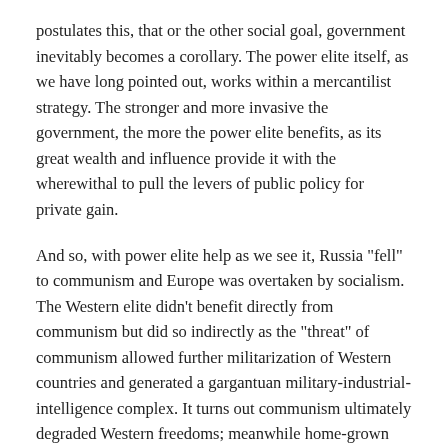postulates this, that or the other social goal, government inevitably becomes a corollary. The power elite itself, as we have long pointed out, works within a mercantilist strategy. The stronger and more invasive the government, the more the power elite benefits, as its great wealth and influence provide it with the wherewithal to pull the levers of public policy for private gain.
And so, with power elite help as we see it, Russia "fell" to communism and Europe was overtaken by socialism. The Western elite didn't benefit directly from communism but did so indirectly as the "threat" of communism allowed further militarization of Western countries and generated a gargantuan military-industrial-intelligence complex. It turns out communism ultimately degraded Western freedoms; meanwhile home-grown socialism provided the elite further ways of expanding the state.
This spread of socialism in the West was accomplished through central banking. We have long referred to this as Dreamtime, because the hot money flows of central bank money creation can